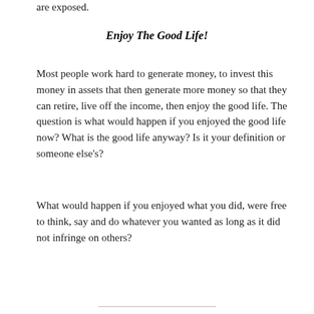are exposed.
Enjoy The Good Life!
Most people work hard to generate money, to invest this money in assets that then generate more money so that they can retire, live off the income, then enjoy the good life. The question is what would happen if you enjoyed the good life now? What is the good life anyway? Is it your definition or someone else's?
What would happen if you enjoyed what you did, were free to think, say and do whatever you wanted as long as it did not infringe on others?